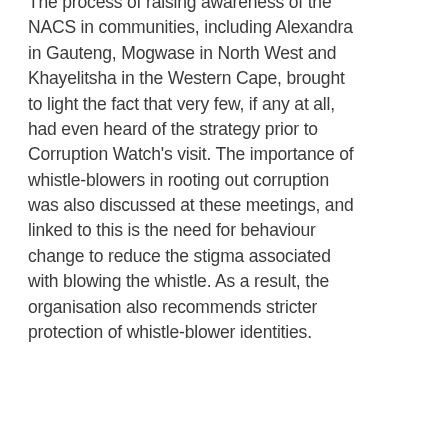The process of raising awareness of the NACS in communities, including Alexandra in Gauteng, Mogwase in North West and Khayelitsha in the Western Cape, brought to light the fact that very few, if any at all, had even heard of the strategy prior to Corruption Watch's visit. The importance of whistle-blowers in rooting out corruption was also discussed at these meetings, and linked to this is the need for behaviour change to reduce the stigma associated with blowing the whistle. As a result, the organisation also recommends stricter protection of whistle-blower identities.